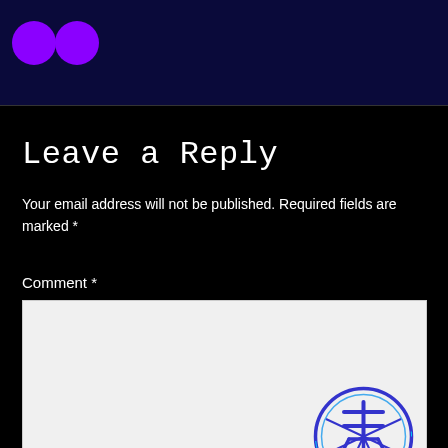[Figure (illustration): Dark navy blue header banner with two purple circular icons in the top left corner]
Leave a Reply
Your email address will not be published. Required fields are marked *
Comment *
[Figure (illustration): Light gray comment text area input box with a blue circular logo/seal containing a Japanese or Chinese character (木/水) in the bottom right corner of the box]